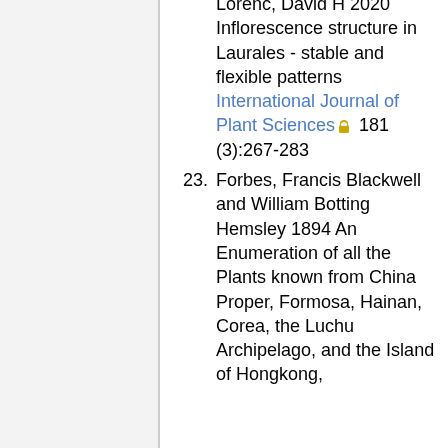Lorenc, David H 2020 Inflorescence structure in Laurales - stable and flexible patterns International Journal of Plant Sciences 181 (3):267-283
23. Forbes, Francis Blackwell and William Botting Hemsley 1894 An Enumeration of all the Plants known from China Proper, Formosa, Hainan, Corea, the Luchu Archipelago, and the Island of Hongkong,